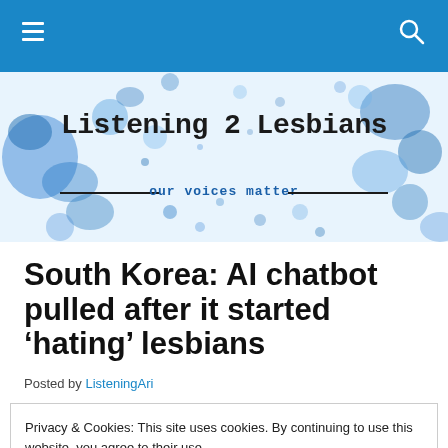Navigation bar with hamburger menu and search icon
[Figure (illustration): Blog banner with blue watercolor paint splats on white background, showing blog title 'Listening 2 Lesbians' in typewriter font and subtitle 'our voices matter']
South Korea: AI chatbot pulled after it started ‘hating’ lesbians
Posted by ListeningAri
Privacy & Cookies: This site uses cookies. By continuing to use this website, you agree to their use.
To find out more, including how to control cookies, see here: Cookie Policy
Close and accept